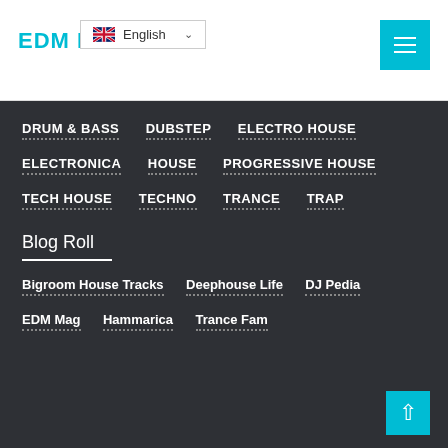EDM Promos
DRUM & BASS
DUBSTEP
ELECTRO HOUSE
ELECTRONICA
HOUSE
PROGRESSIVE HOUSE
TECH HOUSE
TECHNO
TRANCE
TRAP
Blog Roll
Bigroom House Tracks
Deephouse Life
DJ Pedia
EDM Mag
Hammarica
Trance Fam